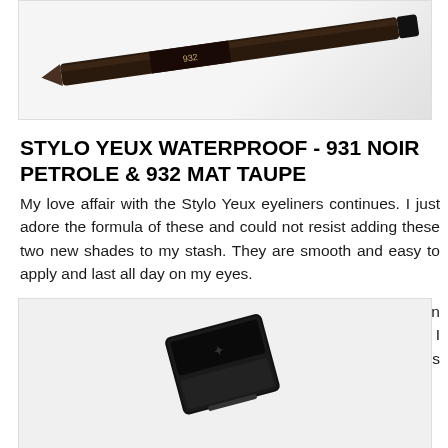[Figure (photo): Close-up of two Chanel Stylo Yeux Waterproof eyeliner pencils, shades 931 and 932, shown diagonally against a white background.]
STYLO YEUX WATERPROOF - 931 NOIR PETROLE & 932 MAT TAUPE
My love affair with the Stylo Yeux eyeliners continues. I just adore the formula of these and could not resist adding these two new shades to my stash. They are smooth and easy to apply and last all day on my eyes.
Noir Petrole is a deep olive-black with a soft shimmery satin finish. Mat Taupe is a matte, dark brown-taupe shade. I believe the former is limited edition whilst the later is permanent.
[Figure (photo): Chanel compact or palette product shown at an angle against a light gray background.]